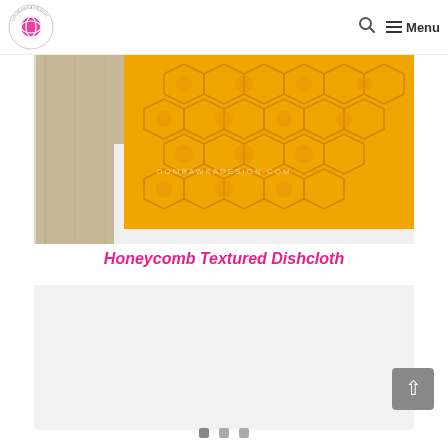Oombawka Design — Search | Menu
[Figure (photo): Close-up photo of a yellow/golden honeycomb textured knitted or crocheted dishcloth on a white surface with wooden items. Watermark text reads OOMBAWKADESIGN.COM]
Honeycomb Textured Dishcloth
[Figure (photo): Partially loaded or light gray placeholder image for a second craft photo]
Pagination dots: page 1, 2, 3